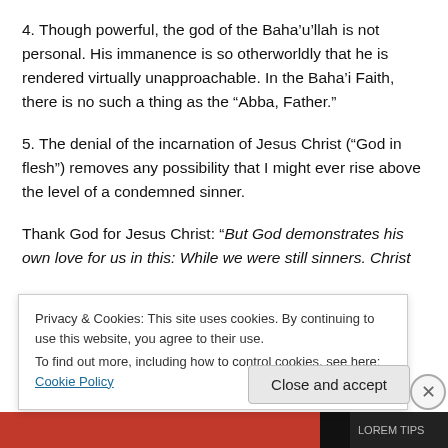4. Though powerful, the god of the Baha’u’llah is not personal. His immanence is so otherworldly that he is rendered virtually unapproachable. In the Baha’i Faith, there is no such a thing as the “Abba, Father.”
5. The denial of the incarnation of Jesus Christ (“God in flesh”) removes any possibility that I might ever rise above the level of a condemned sinner.
Thank God for Jesus Christ: “But God demonstrates his own love for us in this: While we were still sinners. Christ
Privacy & Cookies: This site uses cookies. By continuing to use this website, you agree to their use.
To find out more, including how to control cookies, see here: Cookie Policy
Close and accept